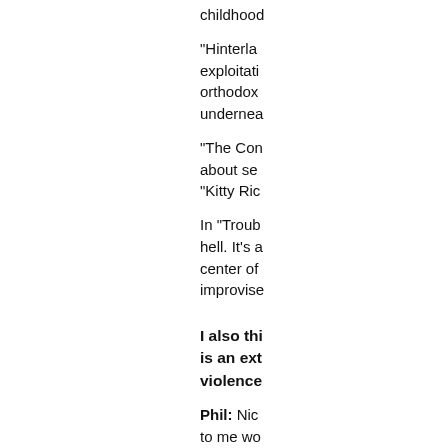childhood
“Hinterla… exploitation… orthodox… underneath…
“The Cor… about se… “Kitty Ric…
In “Troub… hell. It’s a… center of… improvise…
I also thi… is an ext… violence…
Phil: Nic… to me wo… narrative… in which… witnesse… disgusted…